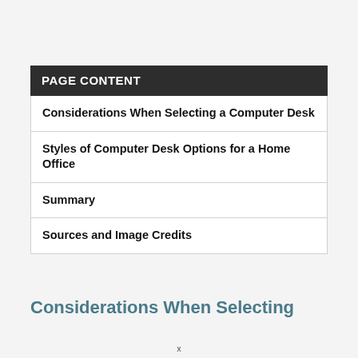PAGE CONTENT
Considerations When Selecting a Computer Desk
Styles of Computer Desk Options for a Home Office
Summary
Sources and Image Credits
Considerations When Selecting